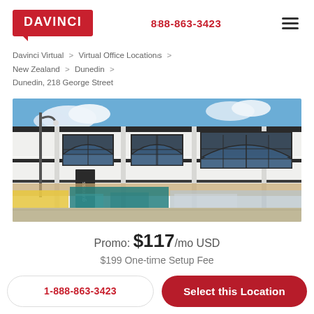DAVINCI  888-863-3423
Davinci Virtual > Virtual Office Locations > New Zealand > Dunedin > Dunedin, 218 George Street
[Figure (photo): Exterior photo of a white heritage commercial building at 218 George Street, Dunedin, New Zealand. The building has arched windows on the upper floor and retail shops at street level. A street lamp and hanging banner are visible.]
Promo: $117/mo USD
$199 One-time Setup Fee
1-888-863-3423
Select this Location